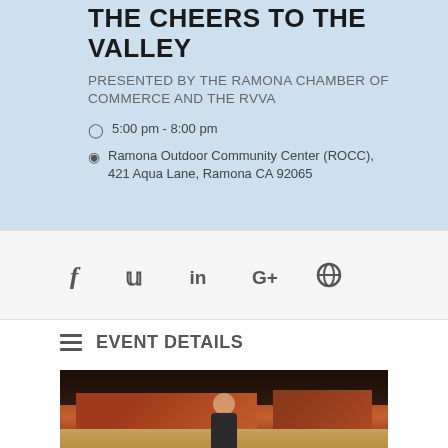THE CHEERS TO THE VALLEY
PRESENTED BY THE RAMONA CHAMBER OF COMMERCE AND THE RVVA
5:00 pm - 8:00 pm
Ramona Outdoor Community Center (ROCC), 421 Aqua Lane, Ramona CA 92065
[Figure (infographic): Social media icons: Facebook (f), Twitter, LinkedIn (in), Google+ (G+), Pinterest]
EVENT DETAILS
[Figure (photo): Photo of a person in front of a red barn outdoors]